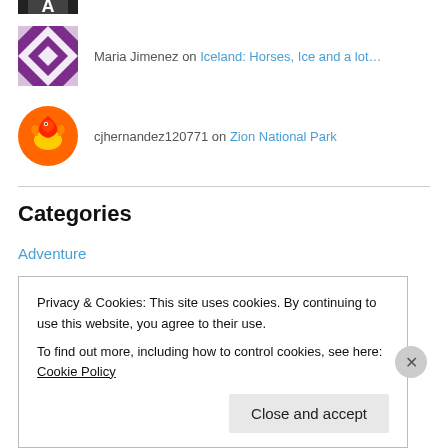[Figure (photo): Partial avatar image cropped at top of page showing black and white pattern]
Maria Jimenez on Iceland: Horses, Ice and a lot…
[Figure (photo): Purple geometric quilt-pattern avatar for Maria Jimenez]
cjhernandez120771 on Zion National Park
[Figure (photo): Orange circle avatar with phoenix/bird illustration for cjhernandez120771]
Categories
Adventure
Beach
Belgium
Camping
Privacy & Cookies: This site uses cookies. By continuing to use this website, you agree to their use.
To find out more, including how to control cookies, see here: Cookie Policy
Close and accept